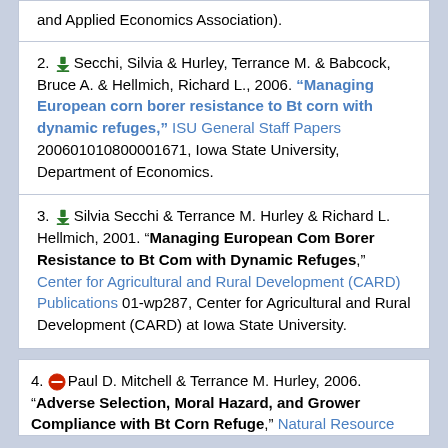and Applied Economics Association).
2. Secchi, Silvia & Hurley, Terrance M. & Babcock, Bruce A. & Hellmich, Richard L., 2006. "Managing European corn borer resistance to Bt corn with dynamic refuges," ISU General Staff Papers 200601010800001671, Iowa State University, Department of Economics.
3. Silvia Secchi & Terrance M. Hurley & Richard L. Hellmich, 2001. "Managing European Com Borer Resistance to Bt Com with Dynamic Refuges," Center for Agricultural and Rural Development (CARD) Publications 01-wp287, Center for Agricultural and Rural Development (CARD) at Iowa State University.
4. Paul D. Mitchell & Terrance M. Hurley, 2006. "Adverse Selection, Moral Hazard, and Grower Compliance with Bt Corn Refuge," Natural Resource...